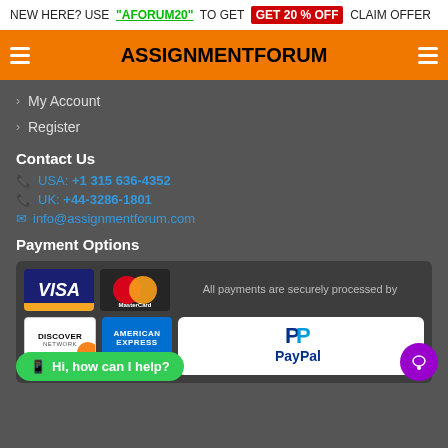NEW HERE? USE "AFORUM20" TO GET GET 20 % OFF CLAIM OFFER
ASSIGNMENTFORUM
My Account
Register
Contact Us
USA: +1 315 636-4352
UK: +44-3286-1801
info@assignmentforum.com
Payment Options
[Figure (infographic): Payment logos: Visa, MasterCard, Discover, American Express, PayPal. Text: All payments are securely processed by]
Hi, how can I help?